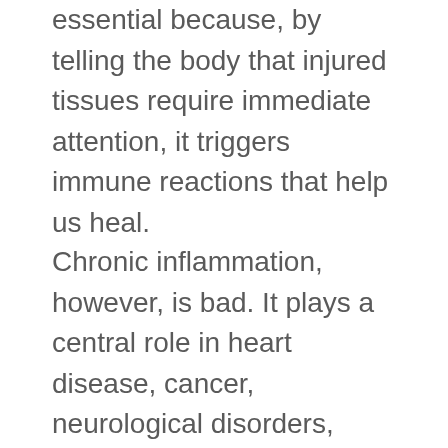essential because, by telling the body that injured tissues require immediate attention, it triggers immune reactions that help us heal.
Chronic inflammation, however, is bad. It plays a central role in heart disease, cancer, neurological disorders, autoimmune diseases, pulmonary conditions, anxiety and depression. It is also implicated in Parkinson's disease, type 2 diabetes, rheumatoid arthritis, psoriasis, osteoporosis, asthma and weight struggles.
Eating a plant-based diet is one thing